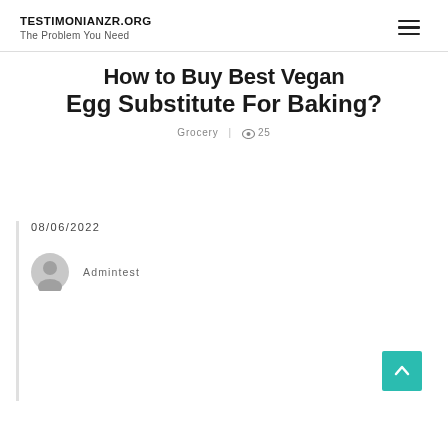TESTIMONIANZR.ORG
The Problem You Need
How to Buy Best Vegan Egg Substitute For Baking?
Grocery | 25
08/06/2022
Admintest